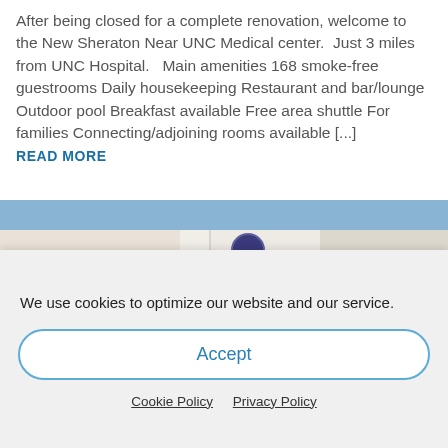After being closed for a complete renovation, welcome to the New Sheraton Near UNC Medical center. Just 3 miles from UNC Hospital. Main amenities 168 smoke-free guestrooms Daily housekeeping Restaurant and bar/lounge Outdoor pool Breakfast available Free area shuttle For families Connecting/adjoining rooms available [...]
READ MORE
[Figure (photo): Exterior photo of a DoubleTree by Hilton hotel building with blue sky background and trees in front]
We use cookies to optimize our website and our service.
Accept
Cookie Policy   Privacy Policy